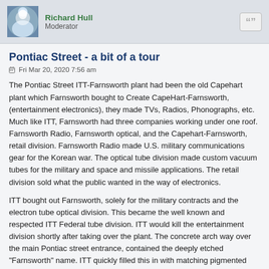Richard Hull
Moderator
Pontiac Street - a bit of a tour
Fri Mar 20, 2020 7:56 am
The Pontiac Street ITT-Farnsworth plant had been the old Capehart plant which Farnsworth bought to Create CapeHart-Farnsworth, (entertainment electronics), they made TVs, Radios, Phonographs, etc. Much like ITT, Farnsworth had three companies working under one roof. Farnsworth Radio, Farnsworth optical, and the Capehart-Farnsworth, retail division. Farnsworth Radio made U.S. military communications gear for the Korean war. The optical tube division made custom vacuum tubes for the military and space and missile applications. The retail division sold what the public wanted in the way of electronics.
ITT bought out Farnsworth, solely for the military contracts and the electron tube optical division. This became the well known and respected ITT Federal tube division. ITT would kill the entertainment division shortly after taking over the plant. The concrete arch way over the main Pontiac street entrance, contained the deeply etched "Farnsworth" name. ITT quickly filled this in with matching pigmented cement. In 1999 you could still make it out if you looked hard.
I was treated to a half day tour of the closed down facility on my first week